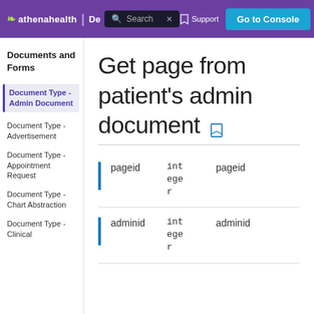athenahealth | De... Search | Support | Go to Console
Documents and Forms
Document Type - Admin Document
Document Type - Advertisement
Document Type - Appointment Request
Document Type - Chart Abstraction
Document Type - Clinical
Get page from patient's admin document
|  | name | type | description |
| --- | --- | --- | --- |
|  | pageid | integer | pageid |
|  | adminid | integer | adminid |